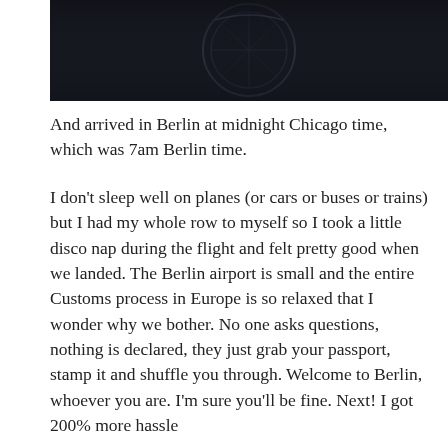[Figure (photo): Dark close-up photo of what appears to be a circular metallic object (possibly a car steering wheel or gauge) against a very dark background]
And arrived in Berlin at midnight Chicago time, which was 7am Berlin time.
I don't sleep well on planes (or cars or buses or trains) but I had my whole row to myself so I took a little disco nap during the flight and felt pretty good when we landed. The Berlin airport is small and the entire Customs process in Europe is so relaxed that I wonder why we bother. No one asks questions, nothing is declared, they just grab your passport, stamp it and shuffle you through. Welcome to Berlin, whoever you are. I'm sure you'll be fine. Next! I got 200% more hassle